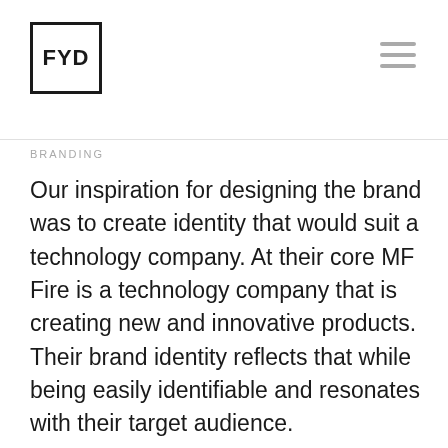FYD
BRANDING
Our inspiration for designing the brand was to create identity that would suit a technology company. At their core MF Fire is a technology company that is creating new and innovative products. Their brand identity reflects that while being easily identifiable and resonates with their target audience.